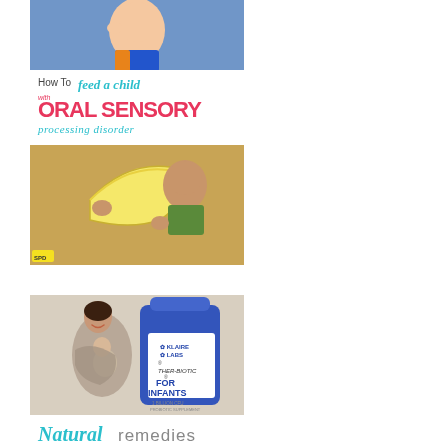[Figure (illustration): Composite image: top shows child touching face, text overlay reads 'How To feed a child with ORAL SENSORY processing disorder', bottom shows child examining a banana]
[Figure (photo): Image of a woman carrying a baby in a wrap/sling next to a blue bottle of Klaire Labs Ther-Biotic for Infants probiotic supplement, with text 'Natural remedies' at bottom]